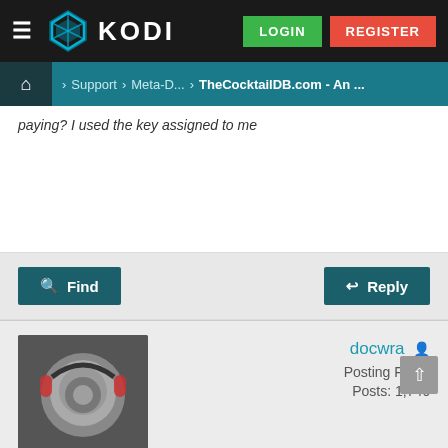KODI — LOGIN | REGISTER
Home > Support > Meta-D... > TheCocktailDB.com - An ...
paying? I used the key assigned to me
Find   Reply
docwra
Posting Freak
Posts: 1,746
2021-05-20, 20:32
#260
uzumwmy Wrote: